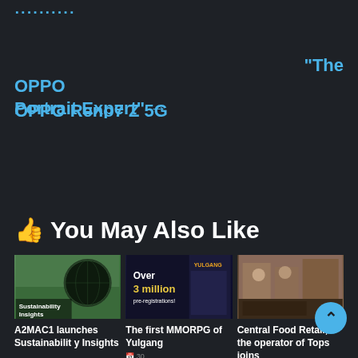▪▪▪▪▪▪▪▪▪▪
OPPO
OPPO Reno7 Z 5G “The Portrait Expert” →
👍 You May Also Like
[Figure (photo): Thumbnail image for A2MAC1 Sustainability Insights article, showing hands and a globe]
A2MAC1 launches Sustainability Insights
[Figure (photo): Thumbnail image for The first MMORPG of Yulgang article showing Over 3 million pre-registrations promotional banner]
The first MMORPG of Yulgang
[Figure (photo): Thumbnail image for Central Food Retail article showing people in a supermarket]
Central Food Retail, the operator of Tops joins